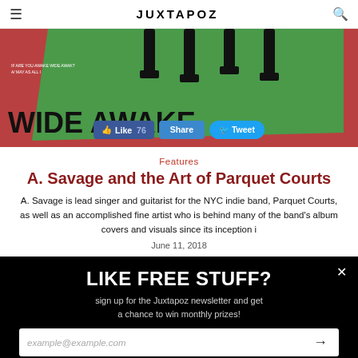JUXTAPOZ
[Figure (illustration): Album artwork showing 'WIDE AWAKE' text in bold black on a red and green background with illustrated legs/feet]
Like 76  Share  Tweet
Features
A. Savage and the Art of Parquet Courts
A. Savage is lead singer and guitarist for the NYC indie band, Parquet Courts, as well as an accomplished fine artist who is behind many of the band's album covers and visuals since its inception i
June 11, 2018
LIKE FREE STUFF?
sign up for the Juxtapoz newsletter and get a chance to win monthly prizes!
example@example.com